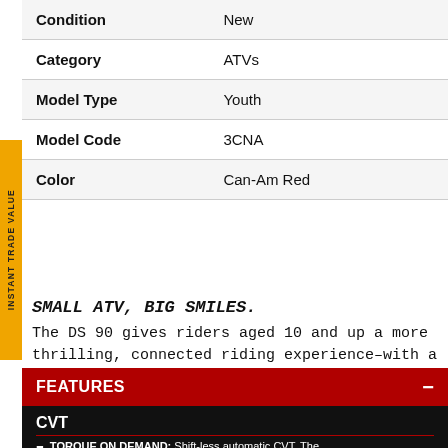| Field | Value |
| --- | --- |
| Condition | New |
| Category | ATVs |
| Model Type | Youth |
| Model Code | 3CNA |
| Color | Can-Am Red |
SMALL ATV, BIG SMILES.
The DS 90 gives riders aged 10 and up a more thrilling, connected riding experience–with a throttle limiter for full speed control.
FEATURES
CVT
TORQUE ON DEMAND: Shift-less automatic CVT. The